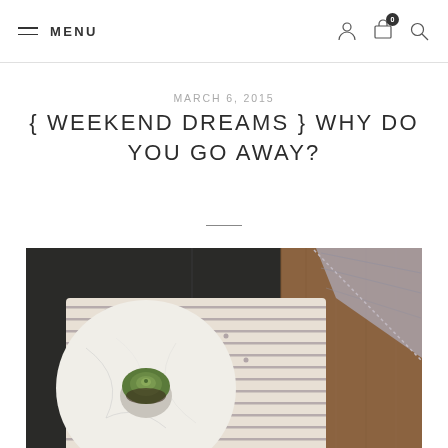MENU
MARCH 6, 2015
{ WEEKEND DREAMS } WHY DO YOU GO AWAY?
[Figure (photo): Overhead photo of a cozy setting: a round marble tray with a small succulent plant on the left, and striped knit blankets/pillows with dot pattern on the right, on a wooden surface. A grey woven blanket is folded in the upper right.]